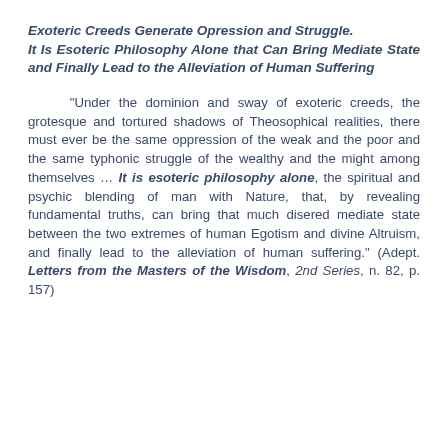Exoteric Creeds Generate Opression and Struggle. It Is Esoteric Philosophy Alone that Can Bring Mediate State and Finally Lead to the Alleviation of Human Suffering
"Under the dominion and sway of exoteric creeds, the grotesque and tortured shadows of Theosophical realities, there must ever be the same oppression of the weak and the poor and the same typhonic struggle of the wealthy and the might among themselves … It is esoteric philosophy alone, the spiritual and psychic blending of man with Nature, that, by revealing fundamental truths, can bring that much disered mediate state between the two extremes of human Egotism and divine Altruism, and finally lead to the alleviation of human suffering." (Adept. Letters from the Masters of the Wisdom, 2nd Series, n. 82, p. 157)